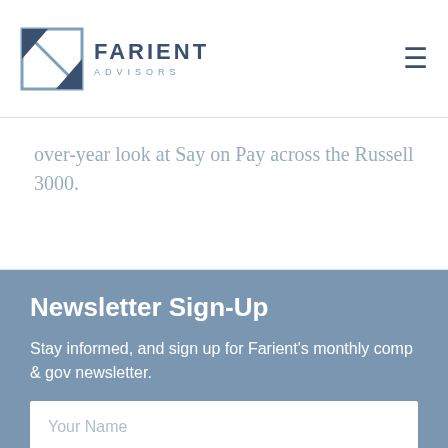Farient Advisors
over-year look at Say on Pay across the Russell 3000.
Newsletter Sign-Up
Stay informed, and sign up for Farient's monthly comp & gov newsletter.